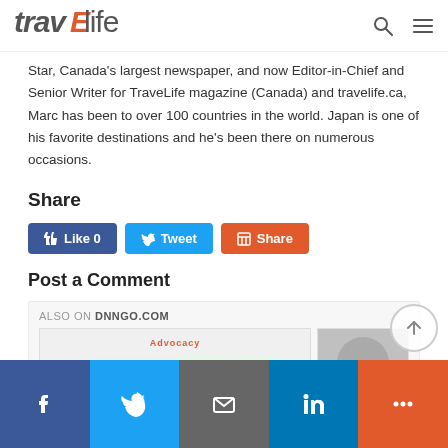travelife
Star, Canada's largest newspaper, and now Editor-in-Chief and Senior Writer for TraveLife magazine (Canada) and travelife.ca, Marc has been to over 100 countries in the world. Japan is one of his favorite destinations and he's been there on numerous occasions.
Share
Like 0  Tweet  Share
Post a Comment
ALSO ON DNNGO.COM
[Figure (screenshot): Also On DNNGO.COM section showing linked articles with thumbnail images including an Advocacy timeline graphic and a profile photo placeholder]
Facebook  Twitter  Email  LinkedIn  More